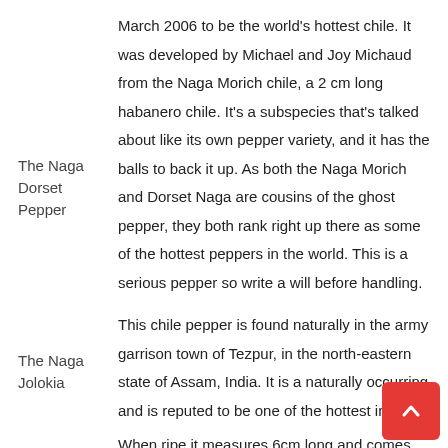March 2006 to be the world's hottest chile. It was developed by Michael and Joy Michaud from the Naga Morich chile, a 2 cm long habanero chile. It's a subspecies that's talked about like its own pepper variety, and it has the balls to back it up. As both the Naga Morich and Dorset Naga are cousins of the ghost pepper, they both rank right up there as some of the hottest peppers in the world. This is a serious pepper so write a will before handling.
The Naga Dorset Pepper
This chile pepper is found naturally in the army garrison town of Tezpur, in the north-eastern state of Assam, India. It is a naturally occurring and is reputed to be one of the hottest in the world. When ripe it measures 6cm long and comes with
The Naga Jolokia